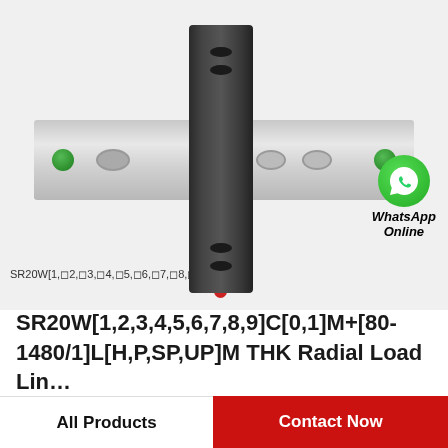[Figure (photo): THK SR20W linear rail carriage and rail assembly. A black vertical carriage block sits on a horizontal silver/grey rail with oval mounting holes and green end caps. WhatsApp Online icon overlaid at bottom right.]
SR20W[1,◻2,◻3,◻4,◻5,◻6,◻7,◻8,◻9]C[0,◻1]M
SR20W[1,2,3,4,5,6,7,8,9]C[0,1]M+[80-1480/1]L[H,P,SP,UP]M THK Radial Load Lin…
All Products
Contact Now